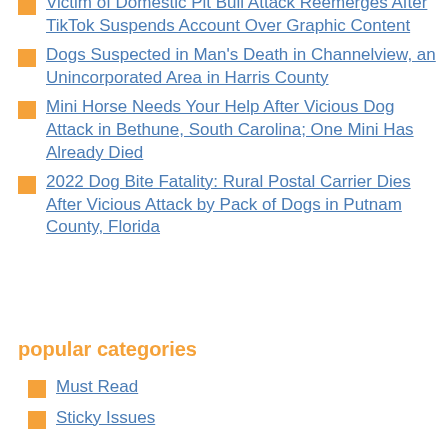Victim of Domestic Pit Bull Attack Reemerges After TikTok Suspends Account Over Graphic Content
Dogs Suspected in Man's Death in Channelview, an Unincorporated Area in Harris County
Mini Horse Needs Your Help After Vicious Dog Attack in Bethune, South Carolina; One Mini Has Already Died
2022 Dog Bite Fatality: Rural Postal Carrier Dies After Vicious Attack by Pack of Dogs in Putnam County, Florida
popular categories
Must Read
Sticky Issues